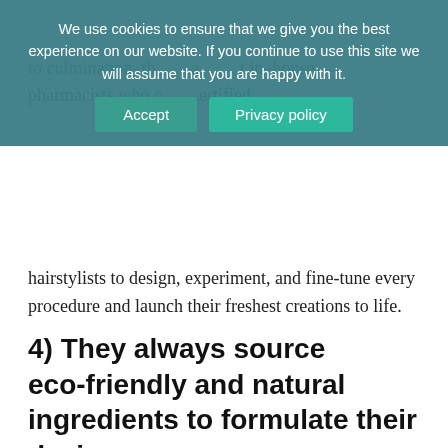to culmination, they have in-house pharmacists who operate together with certified hairstylists to design, experiment, and fine-tune every procedure and launch their freshest creations to life.
4) They always source eco-friendly and natural ingredients to formulate their design
JPMS has explored the whole world for eco-friendly and natural elements for manufacturing their products. In doing so, they have set up a solar-driven Awapuhi ranch on the island of Hawaii. They are also collecting the Marula oil from demarcated places of land that have been kept in a natural condition in Africa and are not used for agriculture or any other purpose.